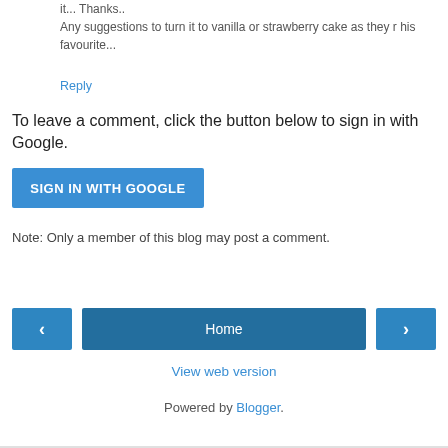it... Thanks.. Any suggestions to turn it to vanilla or strawberry cake as they r his favourite...
Reply
To leave a comment, click the button below to sign in with Google.
SIGN IN WITH GOOGLE
Note: Only a member of this blog may post a comment.
< Home > View web version
Powered by Blogger.